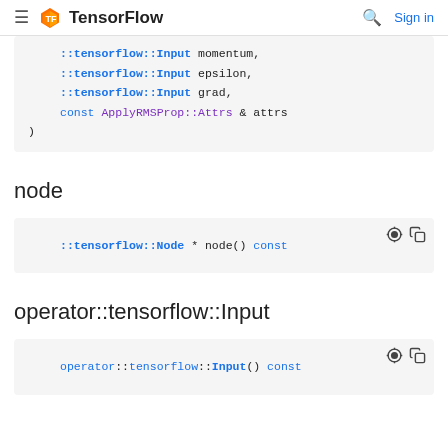TensorFlow — Sign in
[Figure (screenshot): Code block showing ::tensorflow::Input momentum, ::tensorflow::Input epsilon, ::tensorflow::Input grad, const ApplyRMSProp::Attrs & attrs )]
node
[Figure (screenshot): Code block: ::tensorflow::Node * node() const]
operator::tensorflow::Input
[Figure (screenshot): Code block: operator::tensorflow::Input() const]